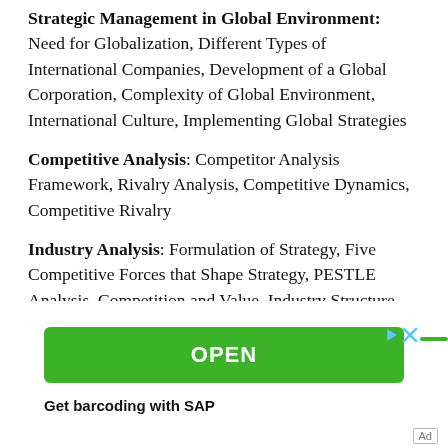Strategic Management in Global Environment: Need for Globalization, Different Types of International Companies, Development of a Global Corporation, Complexity of Global Environment, International Culture, Implementing Global Strategies
Competitive Analysis: Competitor Analysis Framework, Rivalry Analysis, Competitive Dynamics, Competitive Rivalry
Industry Analysis: Formulation of Strategy, Five Competitive Forces that Shape Strategy, PESTLE Analysis, Competition and Value, Industry Structure, Technology Lifecycle, Industry Analysis in Practice, Defining the Relevant Industry
[Figure (other): Advertisement banner with green OPEN button and text 'Get barcoding with SAP']